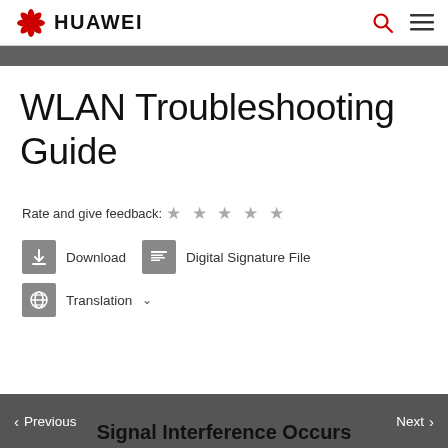HUAWEI
WLAN Troubleshooting Guide
Rate and give feedback: ★ ★ ★ ★ ★
Download  Digital Signature File  Translation
< Previous   Next >  Signal Interference Occurs